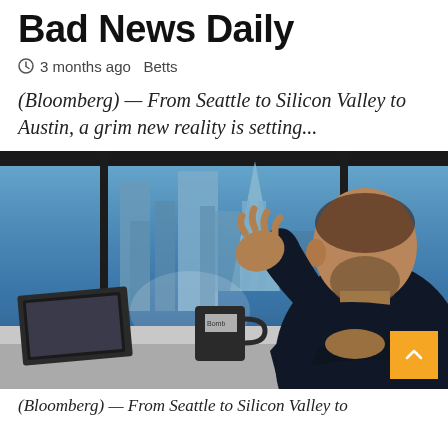Bad News Daily
3 months ago  Betts
(Bloomberg) — From Seattle to Silicon Valley to Austin, a grim new reality is setting...
[Figure (photo): A man in a dark sweater sits at a table gesturing with his right hand, with city skyline visible through large windows behind him. A laptop and mug are on the table.]
(Bloomberg) — From Seattle to Silicon Valley to